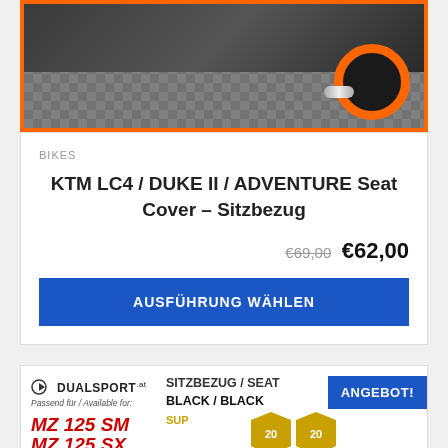[Figure (photo): Motorcycle partial view on cobblestone, orange-bordered product card image showing wheel and exhaust area]
BIKES
KTM LC4 / DUKE II / ADVENTURE Seat Cover – Sitzbezug
€69,00 €62,00
AUSFÜHRUNG WÄHLEN
[Figure (photo): Dualsport product card showing MZ 125 SM / MZ 125 SX Sitzbezug/Seat Cover Black/Black with ANGEBOT! badge]